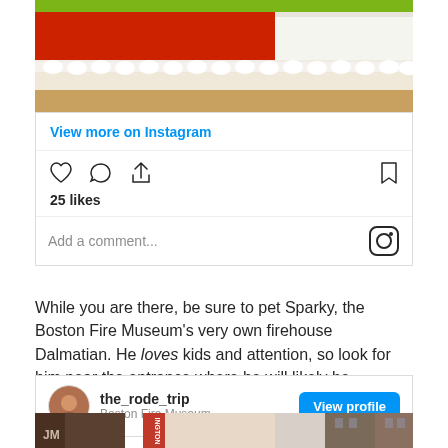[Figure (photo): Close-up photo of a layered cake with red and white frosting on a yellow-green background]
View more on Instagram
25 likes
Add a comment...
While you are there, be sure to pet Sparky, the Boston Fire Museum's very own firehouse Dalmatian. He loves kids and attention, so look for him near the entrance where he will likely be hanging out with the tour guides.
[Figure (screenshot): Instagram profile card showing the_rode_trip account with Boston Fire Museum location and a View profile button]
[Figure (photo): Street-level photo of brick buildings in Boston with a red vertical sign reading INGTON]